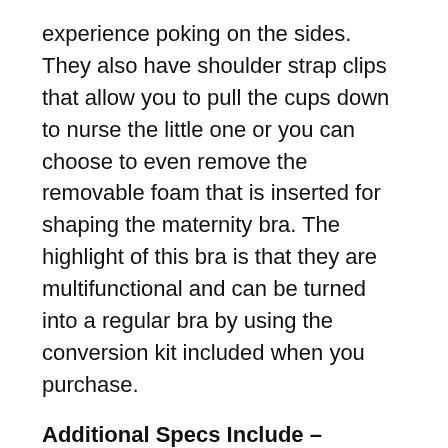experience poking on the sides. They also have shoulder strap clips that allow you to pull the cups down to nurse the little one or you can choose to even remove the removable foam that is inserted for shaping the maternity bra. The highlight of this bra is that they are multifunctional and can be turned into a regular bra by using the conversion kit included when you purchase.
Additional Specs Include –
Size Range – XS-XXL
Machine washable
91% nylon, 100% elastane and 9%